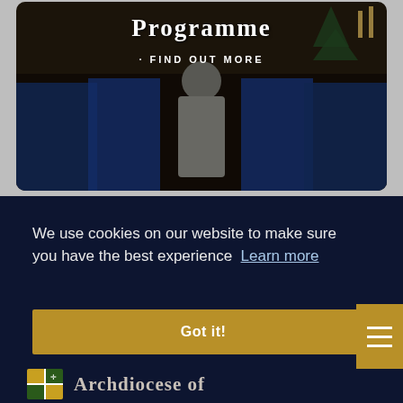[Figure (photo): Photo of a school choir in blue uniforms performing in a church setting, with a robed figure conducting from the front. Overlaid with text about a programme.]
Programme
· FIND OUT MORE
We use cookies on our website to make sure you have the best experience  Learn more
Got it!
[Figure (logo): Archdiocese logo with shield and text 'Archdiocese of']